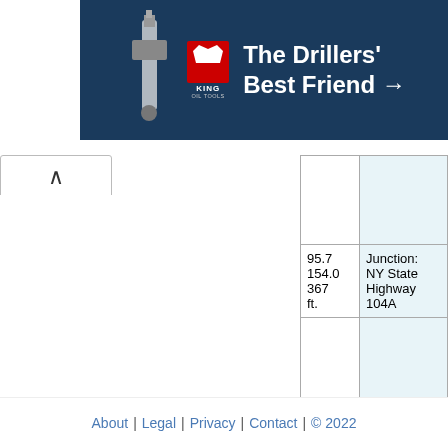[Figure (photo): King Oil Tools advertisement banner: 'The Drillers' Best Friend →' with King logo (red K with crown) and drill tool image on dark blue background]
|  |  |
| --- | --- |
| 95.7
154.0
367 ft. | Junction: NY State Highway 104A |
About | Legal | Privacy | Contact | © 2022